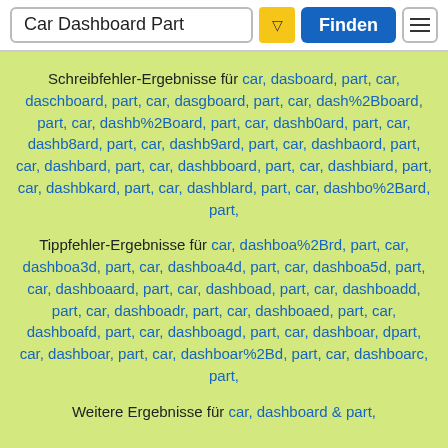Car Dashboard Part | Finden
Schreibfehler-Ergebnisse für car, dasboard, part, car, daschboard, part, car, dasgboard, part, car, dash%2Bboard, part, car, dashb%2Board, part, car, dashb0ard, part, car, dashb8ard, part, car, dashb9ard, part, car, dashbaord, part, car, dashbard, part, car, dashbboard, part, car, dashbiard, part, car, dashbkard, part, car, dashblard, part, car, dashbo%2Bard, part,
Tippfehler-Ergebnisse für car, dashboa%2Brd, part, car, dashboa3d, part, car, dashboa4d, part, car, dashboa5d, part, car, dashboaard, part, car, dashboad, part, car, dashboadd, part, car, dashboadr, part, car, dashboaed, part, car, dashboafd, part, car, dashboagd, part, car, dashboar, dpart, car, dashboar, part, car, dashboar%2Bd, part, car, dashboarc, part,